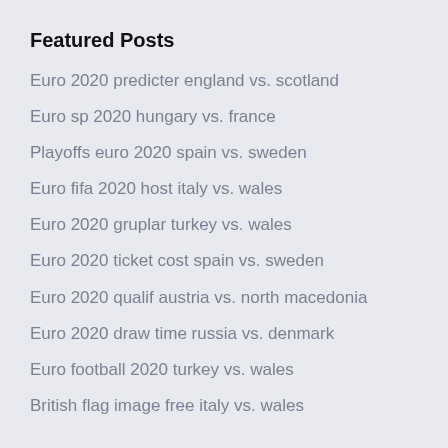Featured Posts
Euro 2020 predicter england vs. scotland
Euro sp 2020 hungary vs. france
Playoffs euro 2020 spain vs. sweden
Euro fifa 2020 host italy vs. wales
Euro 2020 gruplar turkey vs. wales
Euro 2020 ticket cost spain vs. sweden
Euro 2020 qualif austria vs. north macedonia
Euro 2020 draw time russia vs. denmark
Euro football 2020 turkey vs. wales
British flag image free italy vs. wales